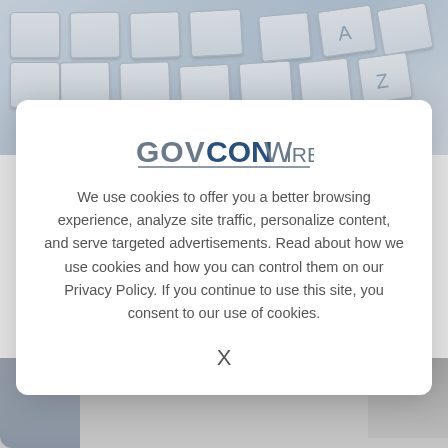[Figure (photo): Close-up photograph of computer keyboard keys in light blue/white tones]
CONTRACT AWARDS
Andrew Dunlop: Veris Group to Support Army's Medical Tech Risk Management I
W A t
[Figure (photo): Portrait photo of a person, partially visible at bottom of page with American flag in background]
[Figure (logo): GovConWire logo]
We use cookies to offer you a better browsing experience, analyze site traffic, personalize content, and serve targeted advertisements. Read about how we use cookies and how you can control them on our Privacy Policy. If you continue to use this site, you consent to our use of cookies.
X